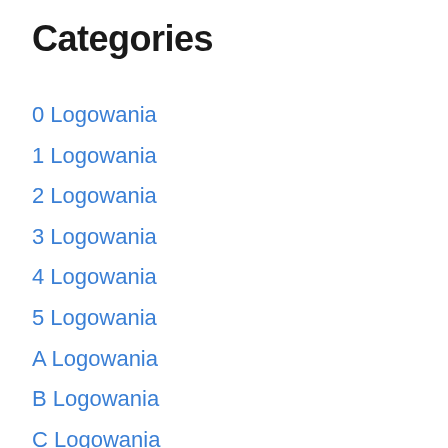Categories
0 Logowania
1 Logowania
2 Logowania
3 Logowania
4 Logowania
5 Logowania
A Logowania
B Logowania
C Logowania
D Logowania
E Logowania
F Logowania